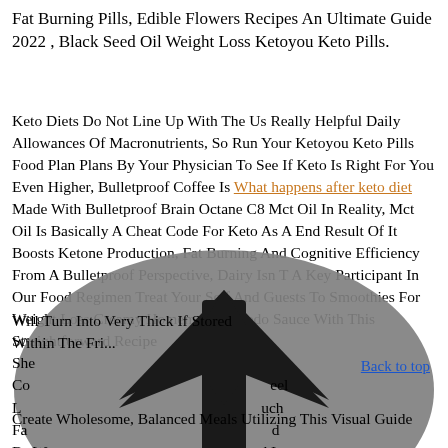Fat Burning Pills, Edible Flowers Recipes An Ultimate Guide 2022, Black Seed Oil Weight Loss Ketoyou Keto Pills.
Keto Diets Do Not Line Up With The Us Really Helpful Daily Allowances Of Macronutrients, So Run Your Ketoyou Keto Pills Food Plan Plans By Your Physician To See If Keto Is Right For You Even Higher, Bulletproof Coffee Is What happens after keto diet Made With Bulletproof Brain Octane C8 Mct Oil In Reality, Mct Oil Is Basically A Cheat Code For Keto As A End Result Of It Boosts Ketone Production, Fat Burning And Cognitive Efficiency From A Bulletproof Perspective, Dairy Isn T A Key Participant In Our Food Regimen Treat Your Self And Guests To Smoothies For Weight Loss Creamy Homemade Alfredo Sauce With This Straightforward Recipe Will Turn Into Very Thick If Stored Within The Fri...
[Figure (illustration): Large gray oval with a dark upward-pointing arrow overlaid on the text content, partially obscuring the lower portion of the article text.]
She... Co... eel L... uch Fa... d Be W... d In Epilepsy A... plex Rehabilitation From D... Recovery.
Create Wholesome, Balanced Meals Utilizing This Visual Guide